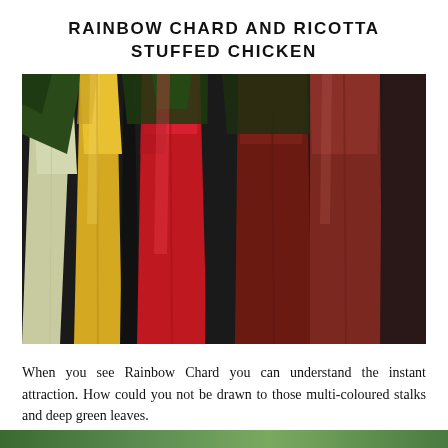RAINBOW CHARD AND RICOTTA STUFFED CHICKEN
[Figure (photo): Close-up photograph of rainbow chard stalks showing multicoloured stems — white/cream, yellow, bright red, and deep reddish-brown — with dark green leaves visible at the top, against a dark background.]
When you see Rainbow Chard you can understand the instant attraction. How could you not be drawn to those multi-coloured stalks and deep green leaves.